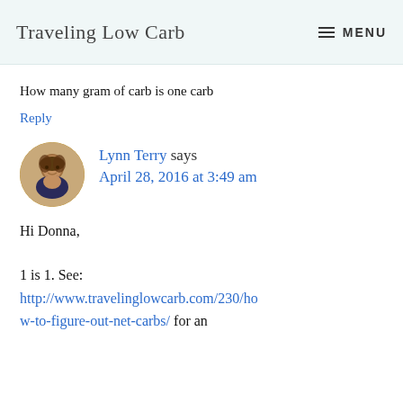Traveling Low Carb  MENU
How many gram of carb is one carb
Reply
Lynn Terry says
April 28, 2016 at 3:49 am
Hi Donna,
1 is 1. See:
http://www.travelinglowcarb.com/230/how-to-figure-out-net-carbs/ for an